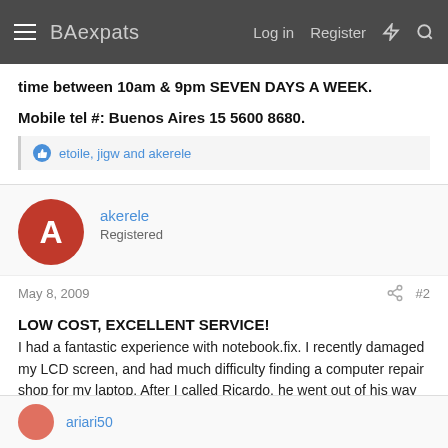BAexpats — Log in Register
time between 10am & 9pm SEVEN DAYS A WEEK.
Mobile tel #: Buenos Aires 15 5600 8680.
etoile, jigw and akerele
akerele
Registered
May 8, 2009
#2
LOW COST, EXCELLENT SERVICE!
I had a fantastic experience with notebook.fix. I recently damaged my LCD screen, and had much difficulty finding a computer repair shop for my laptop. After I called Ricardo, he went out of his way to find low cost, high quality equipment, and conveniently came to my home in order to fix my damaged laptop...that same day!
ariari50